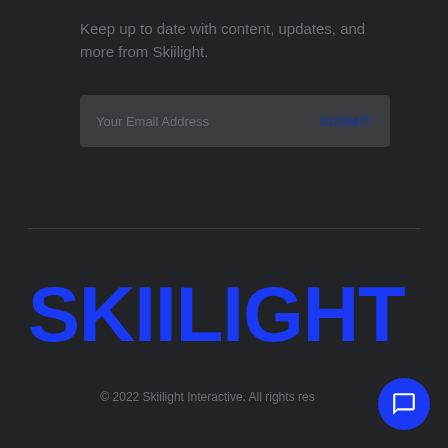Keep up to date with content, updates, and more from Skiilight.
[Figure (other): Email subscription input field with placeholder text 'Your Email Address' and a SUBMIT button]
[Figure (logo): Skiilight logo in large bold blue uppercase text]
© 2022 Skiilight Interactive. All rights res…